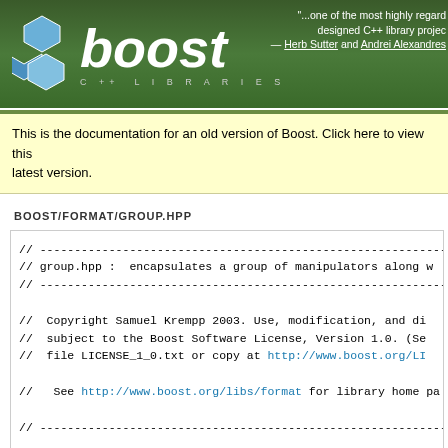[Figure (logo): Boost C++ Libraries header banner with hexagonal logo, boost italic text, and quote from Herb Sutter and Andrei Alexandrescu]
This is the documentation for an old version of Boost. Click here to view this page in the latest version.
BOOST/FORMAT/GROUP.HPP
// -------------------------------------------------------------------
// group.hpp :  encapsulates a group of manipulators along w
// -------------------------------------------------------------------
//  Copyright Samuel Krempp 2003. Use, modification, and di
//  subject to the Boost Software License, Version 1.0. (Se
//  file LICENSE_1_0.txt or copy at http://www.boost.org/LI
//
//   See http://www.boost.org/libs/format for library home pa
//
// -------------------------------------------------------------------

// group_head : cut the last element of a group out.
// (is overloaded below on each type of group)
// group_last : returns the last element of a group
// (is overloaded below on each type of group)